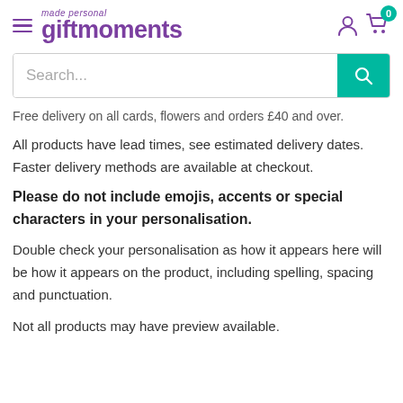gift moments — made personal — navigation, account and cart icons
Search...
Free delivery on all cards, flowers and orders £40 and over.
All products have lead times, see estimated delivery dates. Faster delivery methods are available at checkout.
Please do not include emojis, accents or special characters in your personalisation.
Double check your personalisation as how it appears here will be how it appears on the product, including spelling, spacing and punctuation.
Not all products may have preview available.